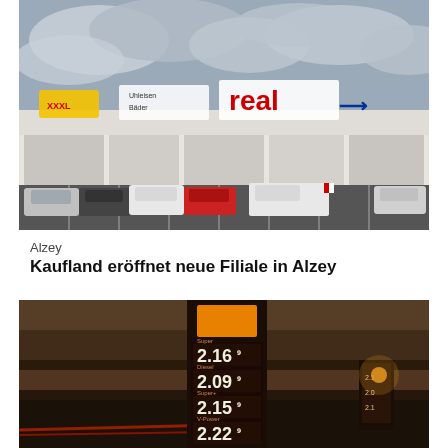[Figure (photo): Exterior photo of a Real supermarket with cars parked in front, cloudy sky overhead. Real logo visible on the building facade.]
Alzey
Kaufland eröffnet neue Filiale in Alzey
[Figure (photo): Nighttime photo of a gas station price sign showing fuel prices: 2.169, 2.099, 2.159, 2.229]